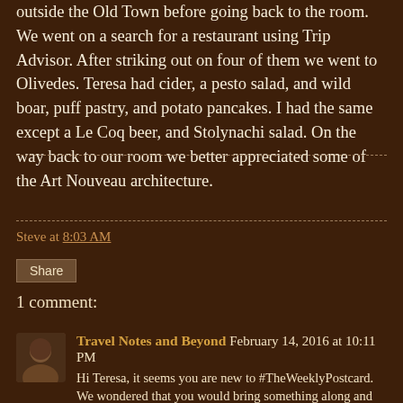outside the Old Town before going back to the room. We went on a search for a restaurant using Trip Advisor. After striking out on four of them we went to Olivedes. Teresa had cider, a pesto salad, and wild boar, puff pastry, and potato pancakes. I had the same except a Le Coq beer, and Stolynachi salad. On the way back to our room we better appreciated some of the Art Nouveau architecture.
Steve at 8:03 AM
Share
1 comment:
Travel Notes and Beyond February 14, 2016 at 10:11 PM
Hi Teresa, it seems you are new to #TheWeeklyPostcard. We wondered that you would bring something along and...